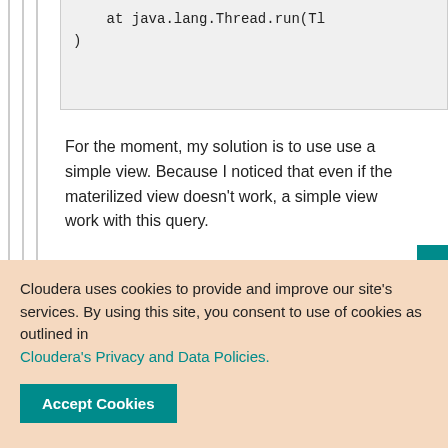at java.lang.Thread.run(Tl
)
For the moment, my solution is to use use a simple view. Because I noticed that even if the materilized view doesn't work, a simple view work with this query.
Feedback
Reply
Cloudera uses cookies to provide and improve our site's services. By using this site, you consent to use of cookies as outlined in Cloudera's Privacy and Data Policies.
Accept Cookies